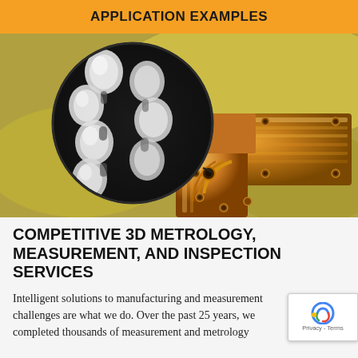APPLICATION EXAMPLES
[Figure (photo): Photo of a copper/metallic L-shaped component or heat sink part with screws, alongside a circular magnified inset showing a microscopic cross-section of the component's surface featuring stacked rounded cellular/nodular structures in black and white.]
COMPETITIVE 3D METROLOGY, MEASUREMENT, AND INSPECTION SERVICES
Intelligent solutions to manufacturing and measurement challenges are what we do. Over the past 25 years, we completed thousands of measurement and metrology